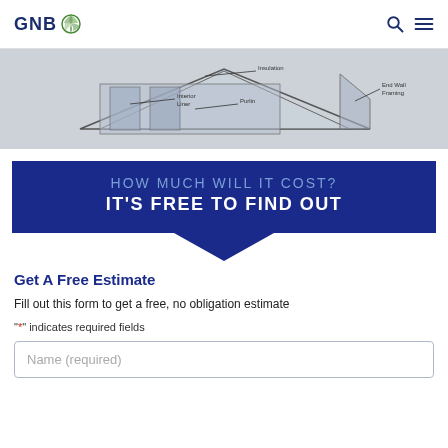GNB
[Figure (engineering-diagram): Cross-section diagram of a building structure showing Insulation, Interior Liner, Purlin, and End Wall Framing components labeled with leader lines.]
[Figure (infographic): Dark navy blue banner with text 'HOW MUCH WILL IT COST? IT'S FREE TO FIND OUT' with a downward-pointing chevron arrow below.]
Get A Free Estimate
Fill out this form to get a free, no obligation estimate
"*" indicates required fields
Name (required)